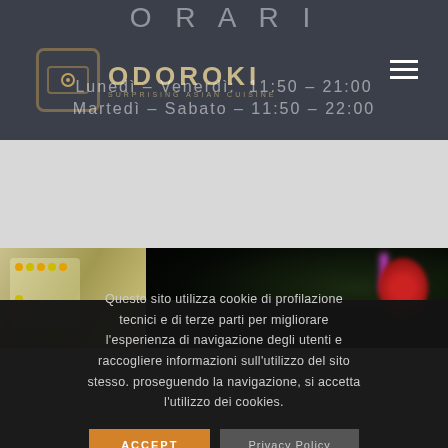ORARI
[Figure (logo): Odoroki Surprising Asian Cuisine logo with square icon and text]
Lunedì - Venerdì: 11:50 - 21:00
Martedì - Sabato - 11:50 - 22:00
[Figure (photo): Restaurant interior photos strip showing decorative elements and ambiance]
Questo sito utilizza cookie di profilazione tecnici e di terze parti per migliorare l'esperienza di navigazione degli utenti e raccogliere informazioni sull'utilizzo del sito stesso. proseguendo la navigazione, si accetta l'utilizzo dei cookies.